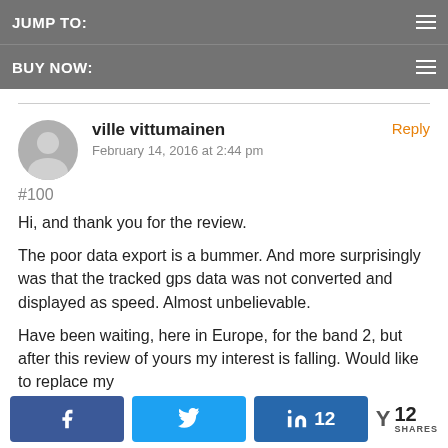JUMP TO:
BUY NOW:
ville vittumainen
February 14, 2016 at 2:44 pm
#100
Hi, and thank you for the review.
The poor data export is a bummer. And more surprisingly was that the tracked gps data was not converted and displayed as speed. Almost unbelievable.
Have been waiting, here in Europe, for the band 2, but after this review of yours my interest is falling. Would like to replace my
12 SHARES